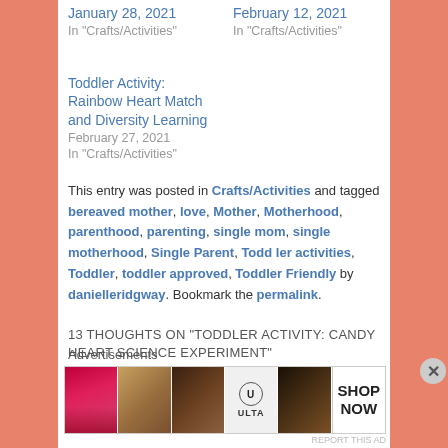Toddler Activity: Rainbow Heart Match and Diversity Learning
February 27, 2021
In "Crafts/Activities"
This entry was posted in Crafts/Activities and tagged bereaved mother, love, Mother, Motherhood, parenthood, parenting, single mom, single motherhood, Single Parent, Toddler activities, Toddler, toddler approved, Toddler Friendly by danielleridgway. Bookmark the permalink.
13 THOUGHTS ON "TODDLER ACTIVITY: CANDY HEART SCIENCE EXPERIMENT"
Advertisements
[Figure (photo): Advertisement banner showing beauty/makeup products with ULTA logo and SHOP NOW text]